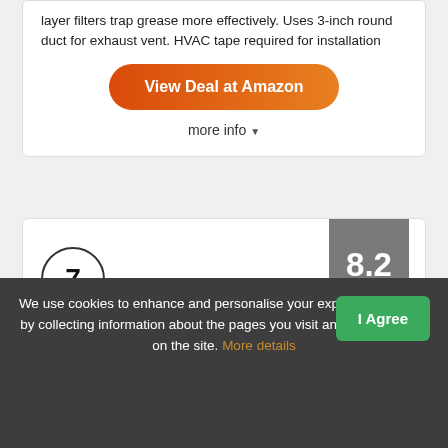layer filters trap grease more effectively. Uses 3-inch round duct for exhaust vent. HVAC tape required for installation
View Deal at Amazon
more info ▾
[Figure (infographic): Score badge showing 8.2 SCORE in a grey pentagon/shield shape, and a circle with number 7]
We use cookies to enhance and personalise your experience with us by collecting information about the pages you visit and actions taken on the site. More details